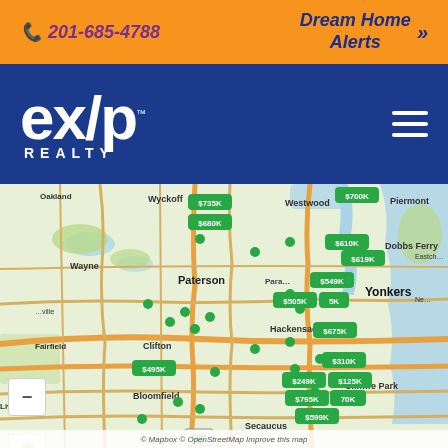📞 201-685-4788   Dream Home Alerts »
[Figure (logo): eXp Realty logo in white text on navy blue background with TM mark]
[Figure (map): OpenStreetMap of northern New Jersey and southern New York area showing property listings with green price badges. Locations include Paterson, Hackensack, Wayne, Clifton, Bloomfield, Fairfield, Livingston, Westwood, Yonkers, Dobbs Ferry, Piermont, Secaucus areas. Price markers visible: $735K, $680K, $619K, $610K, $549K, $505K, $5K, $675K, $495K, $795K, $599K, $249K, $70K, $125K, $310K]
© Mapbox © OpenStreetMap Improve this map